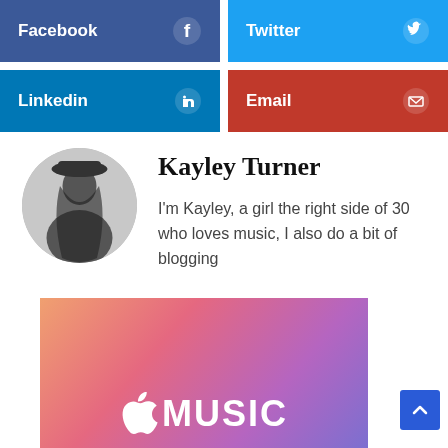[Figure (infographic): Social media share buttons row 1: Facebook (blue) and Twitter (light blue)]
[Figure (infographic): Social media share buttons row 2: LinkedIn (blue) and Email (red)]
Kayley Turner
I'm Kayley, a girl the right side of 30 who loves music, I also do a bit of blogging
[Figure (infographic): Apple Music promotional banner with gradient background (orange to purple) showing Apple logo and MUSIC text]